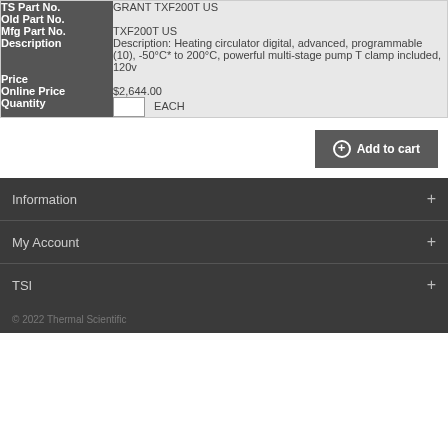| Field | Value |
| --- | --- |
| TS Part No. | GRANT TXF200T US |
| Old Part No. |  |
| Mfg Part No. | TXF200T US |
| Description | Description: Heating circulator digital, advanced, programmable (10), -50°C* to 200°C, powerful multi-stage pump T clamp included, 120v |
| Price |  |
| Online Price | $2,644.00 |
| Quantity | EACH |
Add to cart
Information
My Account
TSI
© 2022 Thermal Scientific